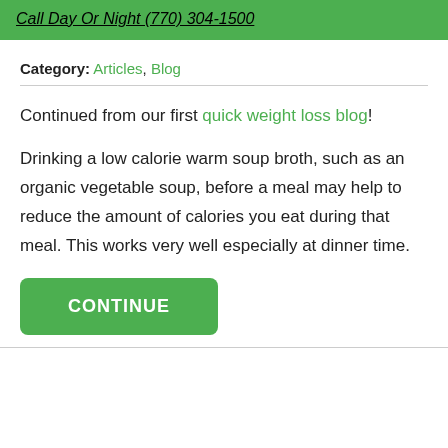Call Day Or Night (770) 304-1500
Category: Articles, Blog
Continued from our first quick weight loss blog!
Drinking a low calorie warm soup broth, such as an organic vegetable soup, before a meal may help to reduce the amount of calories you eat during that meal. This works very well especially at dinner time.
CONTINUE